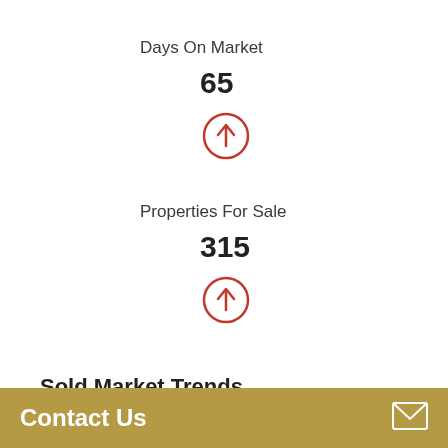Days On Market
65
[Figure (infographic): Red circle with upward arrow icon indicating upward trend]
Properties For Sale
315
[Figure (infographic): Red circle with upward arrow icon indicating upward trend]
Sold Market Trends
Median sold price
Contact Us